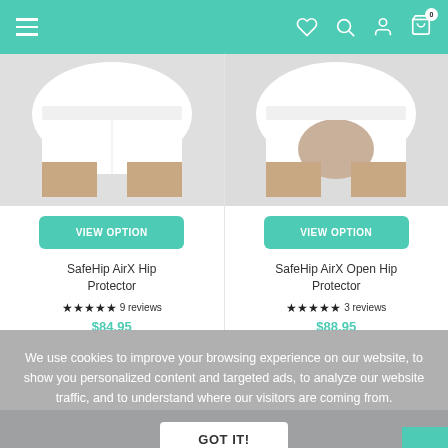Navigation bar with hamburger menu, heart, search, account, and cart (0) icons
[Figure (photo): White hip protector underwear - SafeHip AirX Hip Protector, front/side view]
[Figure (photo): White hip protector underwear with open back - SafeHip AirX Open Hip Protector, back view]
VIEW OPTION
VIEW OPTION
SafeHip AirX Hip Protector
SafeHip AirX Open Hip Protector
★★★★★ 9 reviews
★★★★★ 3 reviews
$84.95
$88.95
We use cookies to improve your browsing experience on our website, to show you personalized content and targeted ads, to analyze our website traffic, and to understand where our visitors are coming from.
GOT IT!
Free Shipping